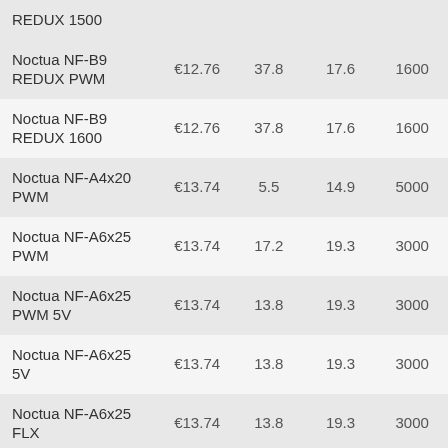| Name | Price | Airflow | Noise | RPM |
| --- | --- | --- | --- | --- |
| REDUX 1500 |  |  |  |  |
| Noctua NF-B9 REDUX PWM | €12.76 | 37.8 | 17.6 | 1600 |
| Noctua NF-B9 REDUX 1600 | €12.76 | 37.8 | 17.6 | 1600 |
| Noctua NF-A4x20 PWM | €13.74 | 5.5 | 14.9 | 5000 |
| Noctua NF-A6x25 PWM | €13.74 | 17.2 | 19.3 | 3000 |
| Noctua NF-A6x25 PWM 5V | €13.74 | 13.8 | 19.3 | 3000 |
| Noctua NF-A6x25 5V | €13.74 | 13.8 | 19.3 | 3000 |
| Noctua NF-A6x25 FLX | €13.74 | 13.8 | 19.3 | 3000 |
| Noctua NF-A4x10 PWM 5V | €13.74 | 5.2 | 19.6 | 5000 |
| Noctua NF-A4x20 FLX | €13.74 | 5.5 | 14.9 | 5000 |
| Noctua NF-... | €13.74 | 5.5 | 14.9 | 5000 |